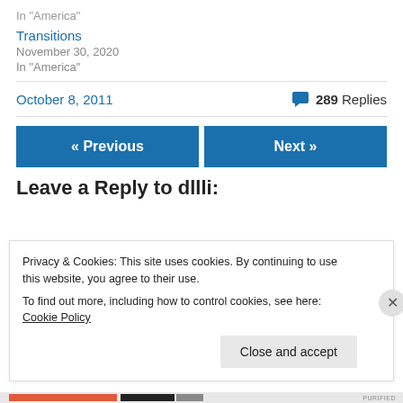In "America"
Transitions
November 30, 2020
In "America"
October 8, 2011
289 Replies
« Previous
Next »
Leave a Reply to dllli:
Privacy & Cookies: This site uses cookies. By continuing to use this website, you agree to their use.
To find out more, including how to control cookies, see here: Cookie Policy
Close and accept